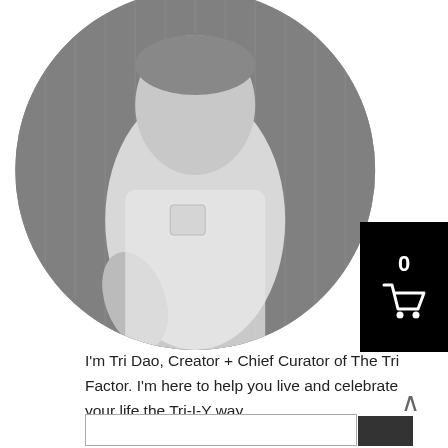[Figure (photo): Black and white circular portrait photo of a person wearing a white shirt, standing in front of a decorative curtain background.]
I'm Tri Dao, Creator + Chief Curator of The Tri Factor. I'm here to help you live and celebrate your life the Tri-I-Y way.
Read more
[Figure (other): Shopping cart icon with number 0 on black background, partially visible on right edge.]